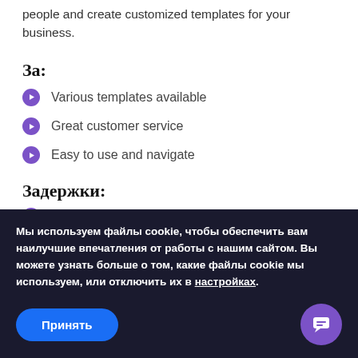people and create customized templates for your business.
За:
Various templates available
Great customer service
Easy to use and navigate
Задержки:
Несколько интеграций
Мы используем файлы cookie, чтобы обеспечить вам наилучшие впечатления от работы с нашим сайтом. Вы можете узнать больше о том, какие файлы cookie мы используем, или отключить их в настройках.